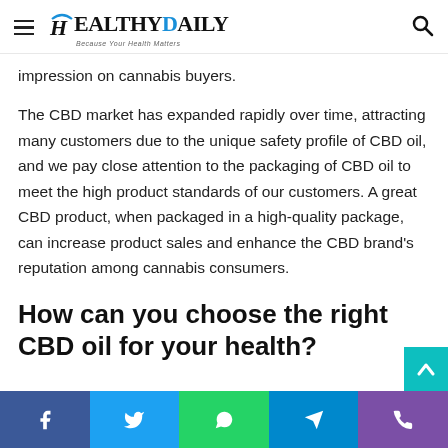Healthy Daily — Because Your Health Matters
impression on cannabis buyers.
The CBD market has expanded rapidly over time, attracting many customers due to the unique safety profile of CBD oil, and we pay close attention to the packaging of CBD oil to meet the high product standards of our customers. A great CBD product, when packaged in a high-quality package, can increase product sales and enhance the CBD brand's reputation among cannabis consumers.
How can you choose the right CBD oil for your health?